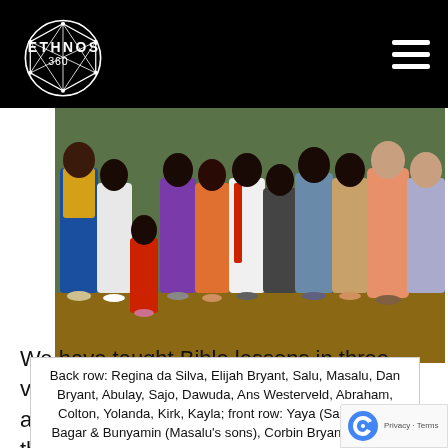ETHNOS 360
[Figure (photo): Group photo of missionary team and local community members standing together outdoors on dirt ground. Includes adults and children in colorful clothing.]
Back row: Regina da Silva, Elijah Bryant, Salu, Masalu, Dan Bryant, Abulay, Sajo, Dawuda, Ans Westerveld, Abraham, Colton, Yolanda, Kirk, Kayla; front row: Yaya (Salu’s son), Bagar & Bunyamin (Masalu’s sons), Corbin Bryant, Burama
We have taught Bible lessons in three vill… and to various individuals, but the growth… the Landuma church has been very slow. Few